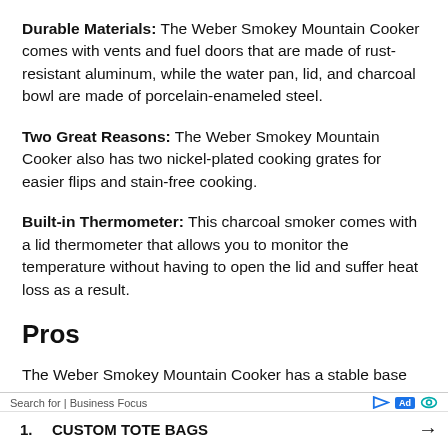Durable Materials: The Weber Smokey Mountain Cooker comes with vents and fuel doors that are made of rust-resistant aluminum, while the water pan, lid, and charcoal bowl are made of porcelain-enameled steel.
Two Great Reasons: The Weber Smokey Mountain Cooker also has two nickel-plated cooking grates for easier flips and stain-free cooking.
Built-in Thermometer: This charcoal smoker comes with a lid thermometer that allows you to monitor the temperature without having to open the lid and suffer heat loss as a result.
Pros
The Weber Smokey Mountain Cooker has a stable base with its sturdy tripod that elevates it a little above the floor, so
Search for | Business Focus
1. CUSTOM TOTE BAGS →